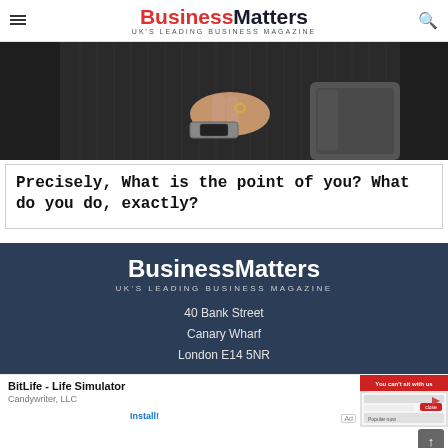BusinessMatters UK'S LEADING BUSINESS MAGAZINE
[Figure (photo): Close-up photo of a person wearing a pinstripe suit, showing their hand and watch resting on the armrest of a chair]
Precisely, What is the point of you? What do you do, exactly?
[Figure (logo): BusinessMatters logo in white on dark navy background with tagline UK'S LEADING BUSINESS MAGAZINE]
40 Bank Street
Canary Wharf
London E14 5NR
[Figure (screenshot): Advertisement for BitLife - Life Simulator by Candywriter, LLC with Install button and game screenshot]